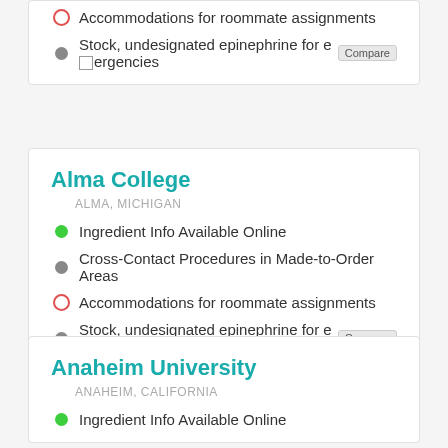Accommodations for roommate assignments
Stock, undesignated epinephrine for emergencies [Compare]
Alma College
ALMA, MICHIGAN
Ingredient Info Available Online
Cross-Contact Procedures in Made-to-Order Areas
Accommodations for roommate assignments
Stock, undesignated epinephrine for emergencies [Compare]
Anaheim University
ANAHEIM, CALIFORNIA
Ingredient Info Available Online